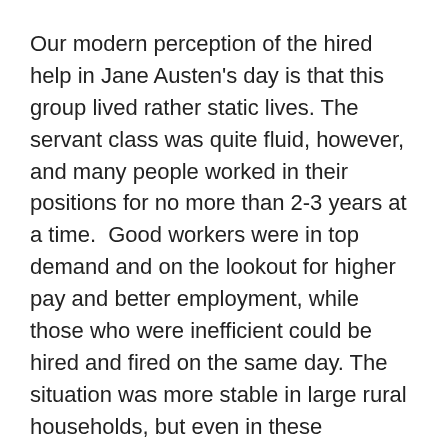Our modern perception of the hired help in Jane Austen's day is that this group lived rather static lives. The servant class was quite fluid, however, and many people worked in their positions for no more than 2-3 years at a time.  Good workers were in top demand and on the lookout for higher pay and better employment, while those who were inefficient could be hired and fired on the same day. The situation was more stable in large rural households, but even in these establishments junior servants tended to leave after a year or so.
With enclosures of common lands preventing the rural poor from supplementing their diets with homegrown  food as was once the custom, children quickly became an economic burden. As soon as they were old enough children were expected to add to a family's income. As